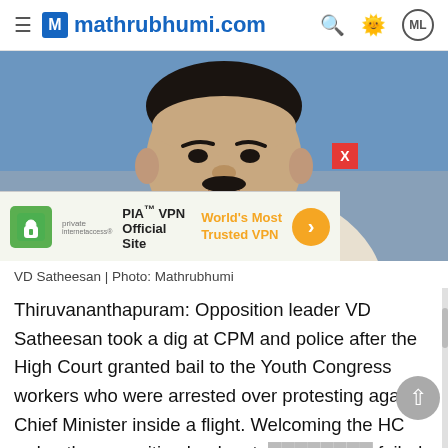mathrubhumi.com
[Figure (photo): Photo of VD Satheesan, with a PIA VPN advertisement banner overlaid at the bottom of the image]
VD Satheesan | Photo: Mathrubhumi
Thiruvananthapuram: Opposition leader VD Satheesan took a dig at CPM and police after the High Court granted bail to the Youth Congress workers who were arrested over protesting against Chief Minister inside a flight. Welcoming the HC order, the opposition leader sta foiled the conspiracy of CPM a